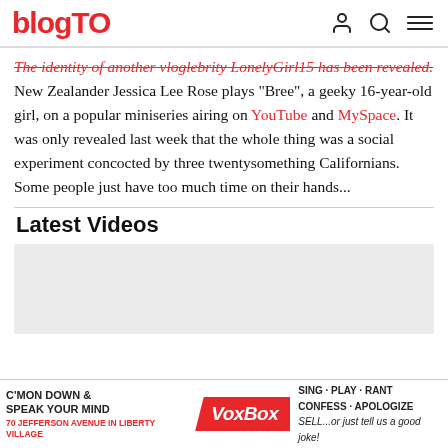blogTO
The identity of another vloglebrity LonelyGirl15 has been revealed. New Zealander Jessica Lee Rose plays "Bree", a geeky 16-year-old girl, on a popular miniseries airing on YouTube and MySpace. It was only revealed last week that the whole thing was a social experiment concocted by three twentysomething Californians. Some people just have too much time on their hands...
Latest Videos
[Figure (other): Video player placeholder, light gray background]
[Figure (other): VoxBox advertisement banner: C'MON DOWN & SPEAK YOUR MIND VoxBox SING·PLAY·RANT CONFESS·APOLOGIZE SELL...or just tell us a good joke! 70 Jefferson Avenue in Liberty Village]